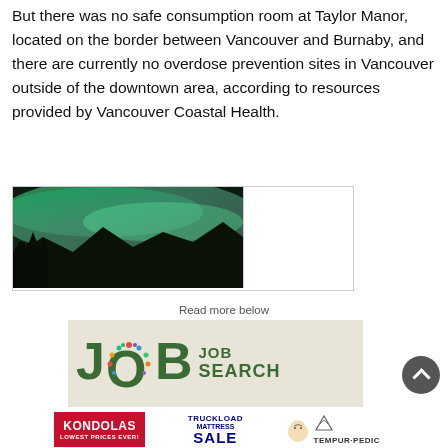But there was no safe consumption room at Taylor Manor, located on the border between Vancouver and Burnaby, and there are currently no overdose prevention sites in Vancouver outside of the downtown area, according to resources provided by Vancouver Coastal Health.
[Figure (photo): Aurora borealis (northern lights) over silhouetted trees and mountains, used as an advertisement banner. Right half is white/blank.]
Read more below
[Figure (other): Job search advertisement with large green 'JOB' text and colorful circle of icons forming the O, with 'JOB SEARCH' text on the right, on a tan/beige background.]
[Figure (other): Kondolas Truckload Mattress Sale advertisement featuring red Kondolas logo, blue 'SALE' text, image of sleeping baby, and Tempur-Pedic branding.]